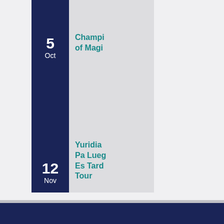5 Oct
Champi of Magi
12 Nov
Yuridia Pa Lueg Es Tard Tour
13 Nov
David Sedaris